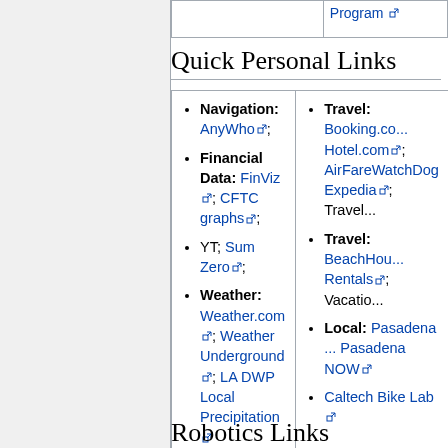|  | Program |
| --- | --- |
|  |  |
Quick Personal Links
| Left column | Right column |
| --- | --- |
| Navigation: AnyWho; Financial Data: FinViz; CFTC graphs; YT; Sum Zero; Weather: Weather.com; Weather Underground; LA DWP Local Precipitation | Travel: Booking.com; Hotel.com; AirFareWatchDog; Expedia; Travel... Travel: BeachHouse Rentals; Vacatio... Local: Pasadena ... Pasadena NOW; Caltech Bike Lab |
Robotics Links